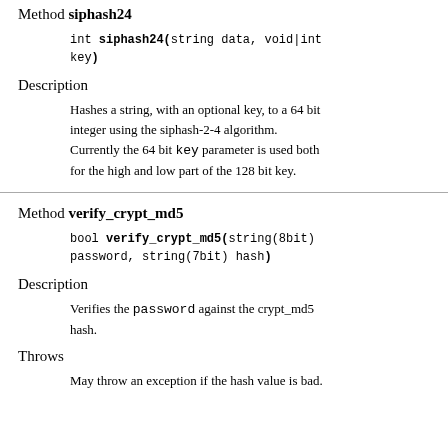Method siphash24
int siphash24(string data, void|int key)
Description
Hashes a string, with an optional key, to a 64 bit integer using the siphash-2-4 algorithm. Currently the 64 bit key parameter is used both for the high and low part of the 128 bit key.
Method verify_crypt_md5
bool verify_crypt_md5(string(8bit) password, string(7bit) hash)
Description
Verifies the password against the crypt_md5 hash.
Throws
May throw an exception if the hash value is bad.